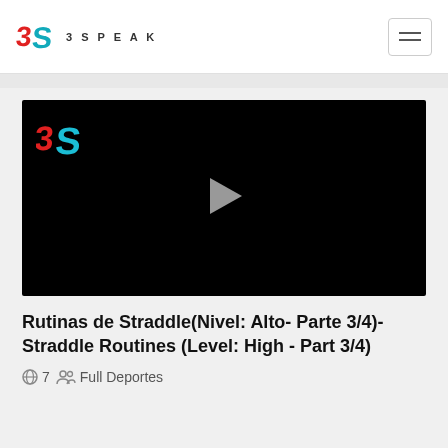3SPEAK
[Figure (screenshot): Video player with black background showing 3Speak logo in top-left and a gray play button triangle in the center]
Rutinas de Straddle(Nivel: Alto- Parte 3/4)- Straddle Routines (Level: High - Part 3/4)
7  Full Deportes